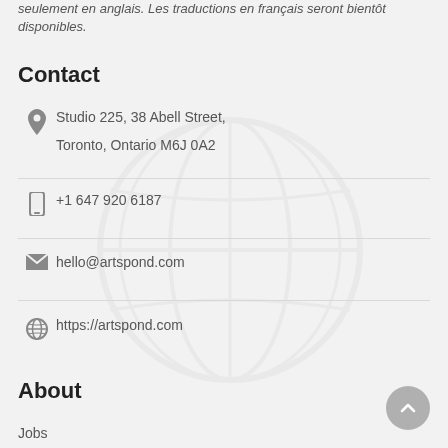seulement en anglais. Les traductions en français seront bientôt disponibles.
Contact
Studio 225, 38 Abell Street,
Toronto, Ontario M6J 0A2
+1 647 920 6187
hello@artspond.com
https://artspond.com
About
Jobs